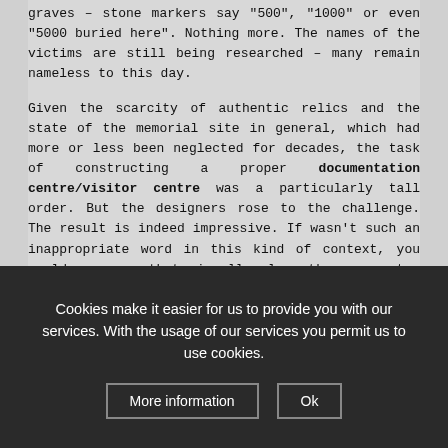graves – stone markers say "500", "1000" or even "5000 buried here". Nothing more. The names of the victims are still being researched – many remain nameless to this day.
Given the scarcity of authentic relics and the state of the memorial site in general, which had more or less been neglected for decades, the task of constructing a proper documentation centre/visitor centre was a particularly tall order. But the designers rose to the challenge. The result is indeed impressive. If wasn't such an inappropriate word in this kind of context, you could even say that visually alone the new centre is a "stunner". Perhaps less so from the outside, but the aesthetics of the design of the interior are an awesome success, in my opinion.
Cookies make it easier for us to provide you with our services. With the usage of our services you permit us to use cookies.